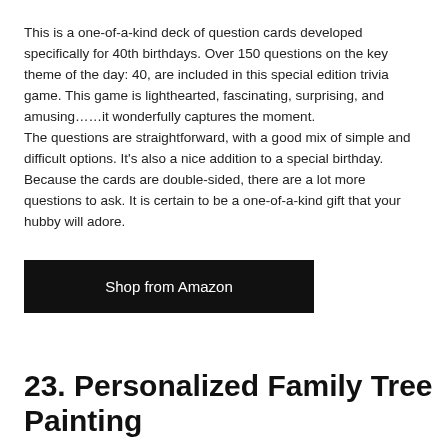This is a one-of-a-kind deck of question cards developed specifically for 40th birthdays. Over 150 questions on the key theme of the day: 40, are included in this special edition trivia game. This game is lighthearted, fascinating, surprising, and amusing……it wonderfully captures the moment.
The questions are straightforward, with a good mix of simple and difficult options. It's also a nice addition to a special birthday. Because the cards are double-sided, there are a lot more questions to ask. It is certain to be a one-of-a-kind gift that your hubby will adore.
Shop from Amazon
23. Personalized Family Tree Painting